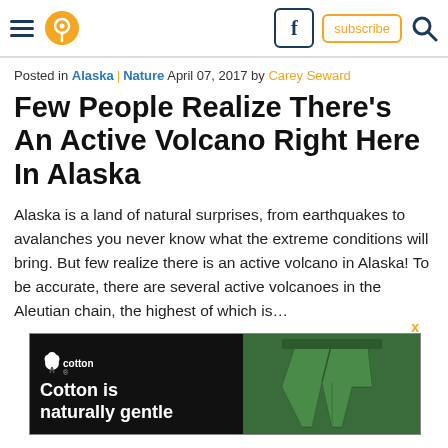Navigation header with hamburger menu, pin/location icon, Facebook button, subscribe button, search icon
Posted in Alaska | Nature April 07, 2017 by Carey Seward
Few People Realize There’s An Active Volcano Right Here In Alaska
Alaska is a land of natural surprises, from earthquakes to avalanches you never know what the extreme conditions will bring. But few realize there is an active volcano in Alaska! To be accurate, there are several active volcanoes in the Aleutian chain, the highest of which is…
[Figure (photo): Advertisement banner: Cotton is naturally gentle, showing cotton logo on dark background with green pants on the right side]